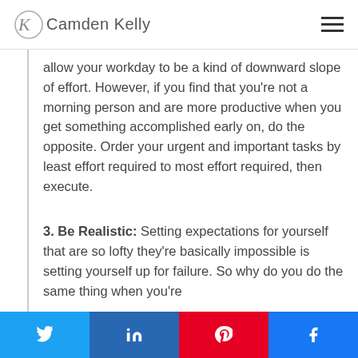Camden Kelly
allow your workday to be a kind of downward slope of effort. However, if you find that you're not a morning person and are more productive when you get something accomplished early on, do the opposite. Order your urgent and important tasks by least effort required to most effort required, then execute.
3. Be Realistic: Setting expectations for yourself that are so lofty they're basically impossible is setting yourself up for failure. So why do you do the same thing when you're
Share buttons: Twitter, LinkedIn, Pinterest, Facebook